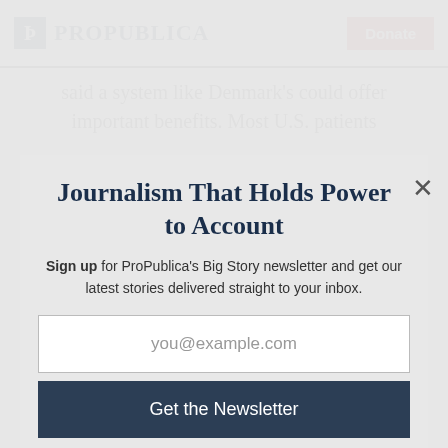ProPublica | Donate
said a system like Denmark's could offer important benefits. Most U.S. patients
Journalism That Holds Power to Account
Sign up for ProPublica's Big Story newsletter and get our latest stories delivered straight to your inbox.
you@example.com
Get the Newsletter
No thanks, I'm all set
This site is protected by reCAPTCHA and the Google Privacy Policy and Terms of Service apply.